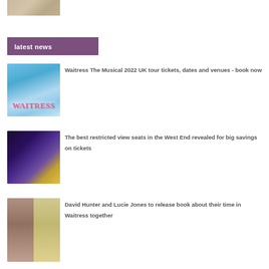[Figure (photo): Partial top image, cropped at top of page]
latest news
[Figure (photo): Waitress The Musical promotional image with logo on blue background]
Waitress The Musical 2022 UK tour tickets, dates and venues - book now
[Figure (photo): West End theatre restricted view seat image showing stage lighting on stone wall]
The best restricted view seats in the West End revealed for big savings on tickets
[Figure (photo): David Hunter and Lucie Jones on stage alongside Waitress book cover]
David Hunter and Lucie Jones to release book about their time in Waitress together